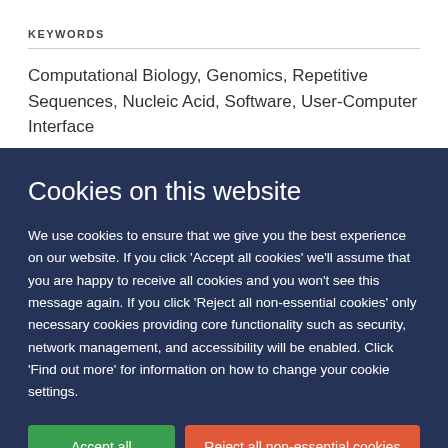KEYWORDS
Computational Biology, Genomics, Repetitive Sequences, Nucleic Acid, Software, User-Computer Interface
Cookies on this website
We use cookies to ensure that we give you the best experience on our website. If you click 'Accept all cookies' we'll assume that you are happy to receive all cookies and you won't see this message again. If you click 'Reject all non-essential cookies' only necessary cookies providing core functionality such as security, network management, and accessibility will be enabled. Click 'Find out more' for information on how to change your cookie settings.
Accept all cookies
Reject all non-essential cookies